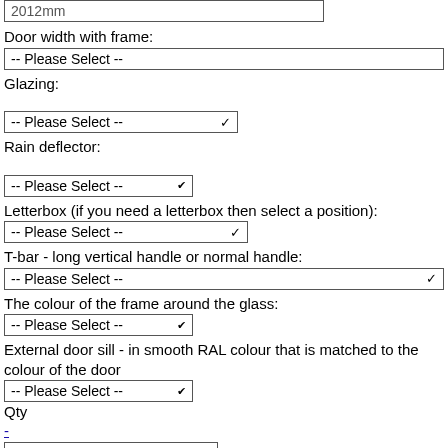Door width with frame:
-- Please Select --
Glazing:
-- Please Select --
Rain deflector:
-- Please Select --
Letterbox (if you need a letterbox then select a position):
-- Please Select --
T-bar - long vertical handle or normal handle:
-- Please Select --
The colour of the frame around the glass:
-- Please Select --
External door sill - in smooth RAL colour that is matched to the colour of the door
-- Please Select --
Qty
-
1
+
Add to Cart
Wish List Compare
Email
Click here to select the configuration